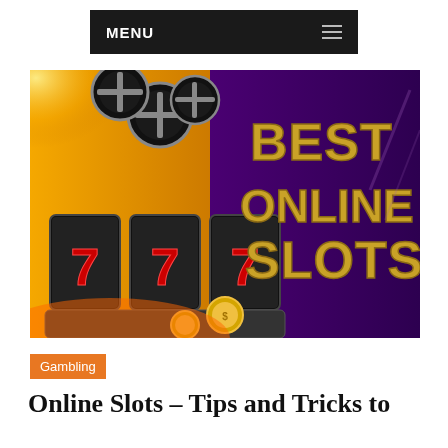MENU
[Figure (illustration): Casino-themed banner image showing slot machine reels displaying 777, poker chips flying, gold coins, and bold golden text reading BEST ONLINE SLOTS on a purple background.]
Gambling
Online Slots – Tips and Tricks to